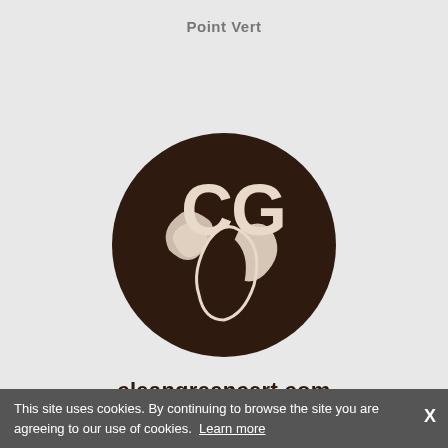Point Vert
[Figure (logo): Clean Green Certification logo: dark brown circle containing the letters 'CG' in light beige at the top and stylized leaf/plant shapes below]
cleangreencert.com
This site uses cookies. By continuing to browse the site you are agreeing to our use of cookies. Learn more